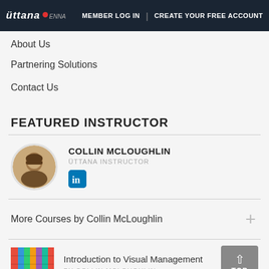üttana · ENNA | MEMBER LOG IN | CREATE YOUR FREE ACCOUNT
About Us
Partnering Solutions
Contact Us
FEATURED INSTRUCTOR
[Figure (photo): Circular profile photo of Collin McLoughlin, a man in a suit smiling]
COLLIN MCLOUGHLIN
ÜTTANA INSTRUCTOR
[Figure (logo): LinkedIn icon - blue rounded square with white 'in' text]
More Courses by Collin McLoughlin
[Figure (photo): Thumbnail image of Introduction to Visual Management course - colorful shelves/bins]
Introduction to Visual Management
BY COLLIN MCLOUGHLIN